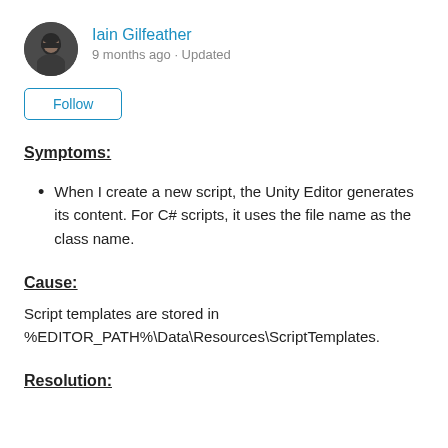[Figure (photo): Circular avatar photo of Iain Gilfeather, a man with dark beard]
Iain Gilfeather
9 months ago · Updated
Follow
Symptoms:
When I create a new script, the Unity Editor generates its content. For C# scripts, it uses the file name as the class name.
Cause:
Script templates are stored in %EDITOR_PATH%\Data\Resources\ScriptTemplates.
Resolution: